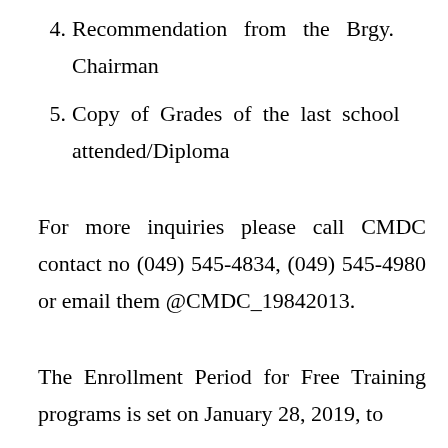4. Recommendation from the Brgy. Chairman
5. Copy of Grades of the last school attended/Diploma
For more inquiries please call CMDC contact no (049) 545-4834, (049) 545-4980 or email them @CMDC_19842013.
The Enrollment Period for Free Training programs is set on January 28, 2019, to